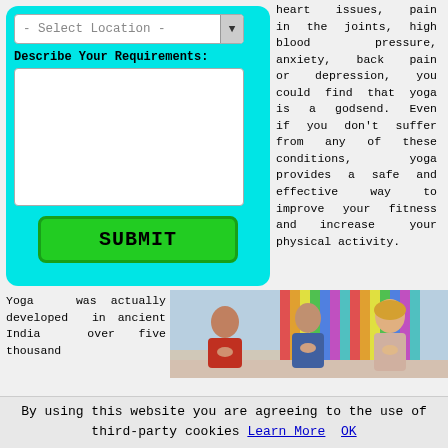[Figure (screenshot): Web form with cyan background showing a Select Location dropdown and Describe Your Requirements textarea with a green SUBMIT button]
heart issues, pain in the joints, high blood pressure, anxiety, back pain or depression, you could find that yoga is a godsend. Even if you don't suffer from any of these conditions, yoga provides a safe and effective way to improve your fitness and increase your physical activity.
Yoga was actually developed in ancient India over five thousand
[Figure (photo): Three people practicing yoga in a studio with hands in prayer position, colorful striped wall in background]
By using this website you are agreeing to the use of third-party cookies Learn More OK